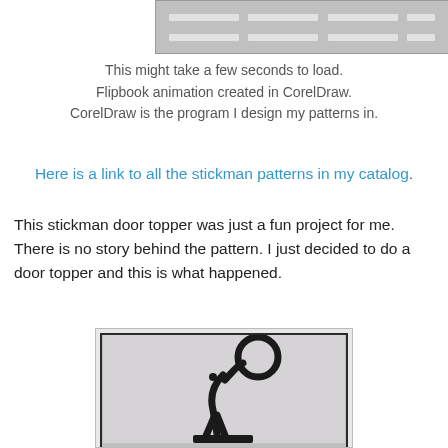[Figure (screenshot): Animation placeholder showing gray bars representing a loading flipbook animation]
This might take a few seconds to load.
Flipbook animation created in CorelDraw.
CorelDraw is the program I design my patterns in.
Here is a link to all the stickman patterns in my catalog.
This stickman door topper was just a fun project for me. There is no story behind the pattern. I just decided to do a door topper and this is what happened.
[Figure (photo): Photo of a black metal stickman door topper sculpture showing a figure with a circular head, mounted on a base, against a light gray/white background]